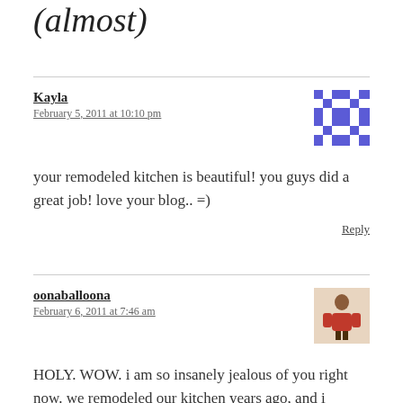(almost)
Kayla
February 5, 2011 at 10:10 pm
your remodeled kitchen is beautiful! you guys did a great job! love your blog.. =)
Reply
oonaballoona
February 6, 2011 at 7:46 am
HOLY. WOW. i am so insanely jealous of you right now. we remodeled our kitchen years ago, and i